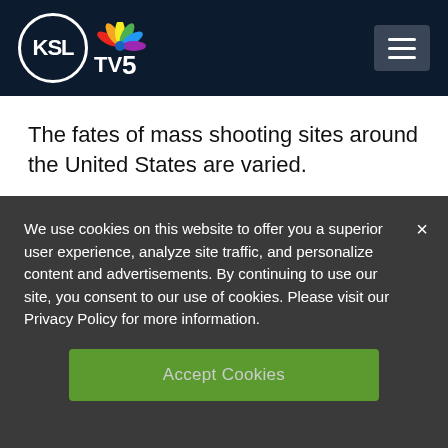[Figure (logo): KSL TV 5 NBC logo on dark navy header bar with hamburger menu icon]
The fates of mass shooting sites around the United States are varied.
In Newtown, Connecticut, voters authorized the demolition of the Sandy Hook
We use cookies on this website to offer you a superior user experience, analyze site traffic, and personalize content and advertisements. By continuing to use our site, you consent to our use of cookies. Please visit our Privacy Policy for more information.
Accept Cookies